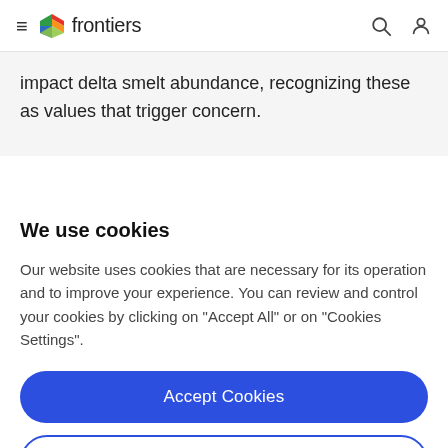frontiers
impact delta smelt abundance, recognizing these as values that trigger concern.
We use cookies
Our website uses cookies that are necessary for its operation and to improve your experience. You can review and control your cookies by clicking on "Accept All" or on "Cookies Settings".
Accept Cookies
Cookies Settings